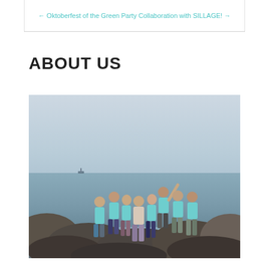← Oktoberfest of the Green Party Collaboration with SILLAGE! →
ABOUT US
[Figure (photo): Group photo of approximately 8 young people wearing matching light teal/mint colored t-shirts, posing together on rocky shoreline with sea and overcast sky in the background. Some are raising their arms and making playful poses.]